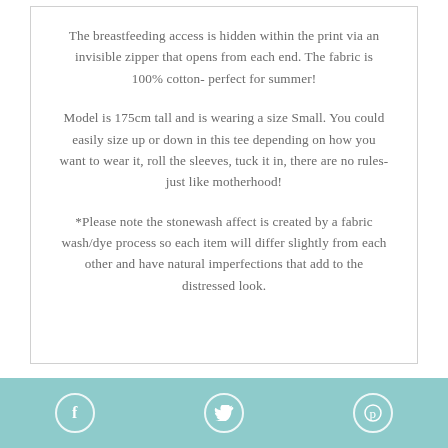The breastfeeding access is hidden within the print via an invisible zipper that opens from each end. The fabric is 100% cotton- perfect for summer!
Model is 175cm tall and is wearing a size Small. You could easily size up or down in this tee depending on how you want to wear it, roll the sleeves, tuck it in, there are no rules- just like motherhood!
*Please note the stonewash affect is created by a fabric wash/dye process so each item will differ slightly from each other and have natural imperfections that add to the distressed look.
Social sharing icons: Facebook, Twitter, Pinterest